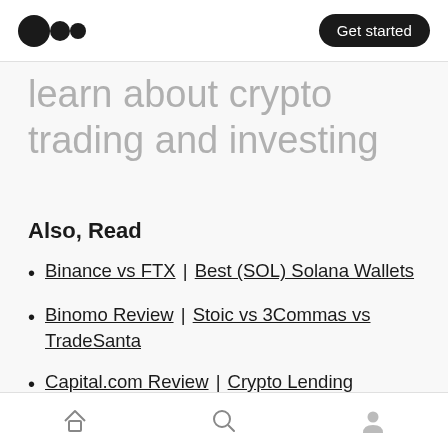Medium logo | Get started
learn about crypto trading and investing
Also, Read
Binance vs FTX | Best (SOL) Solana Wallets
Binomo Review | Stoic vs 3Commas vs TradeSanta
Capital.com Review | Crypto Lending Platforms in Hong Kong
How to Swap Crypto on Uniswap? | A-Ads
Home | Search | Profile